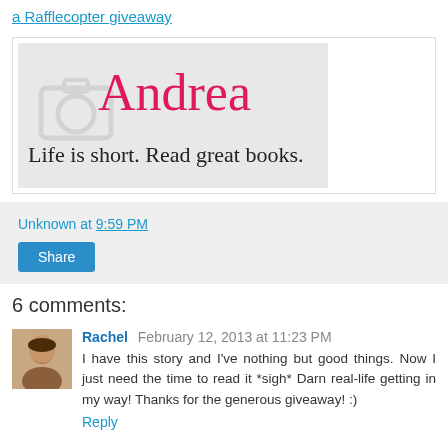a Rafflecopter giveaway
[Figure (illustration): Signature image with 'Andrea' in pink cursive script and tagline 'Life is short. Read great books.' in black cursive on a light gray background]
Unknown at 9:59 PM
Share
6 comments:
Rachel  February 12, 2013 at 11:23 PM
I have this story and I've nothing but good things. Now I just need the time to read it *sigh* Darn real-life getting in my way! Thanks for the generous giveaway! :)
Reply